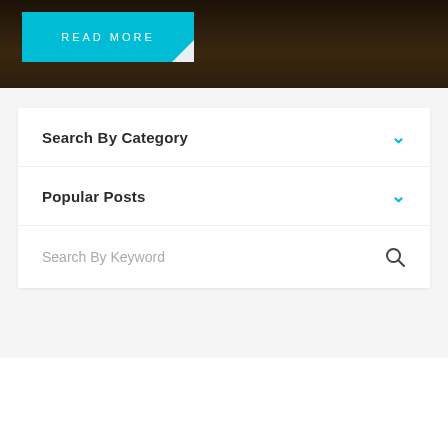[Figure (screenshot): Dark brown hero image background with a cyan/teal 'READ MORE' button in the upper left with a folded corner effect]
READ MORE
Search By Category
Popular Posts
Search By Keyword